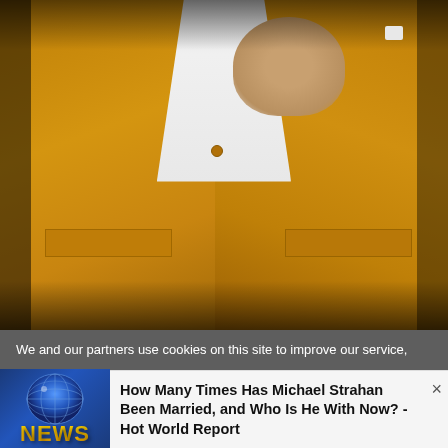[Figure (photo): A man wearing a mustard/golden yellow blazer jacket over a white shirt, with one hand raised near his chin. The photo is cropped showing the torso and partial face area.]
We and our partners use cookies on this site to improve our service,
[Figure (logo): NEWS globe logo with blue background and gold NEWS text]
How Many Times Has Michael Strahan Been Married, and Who Is He With Now? - Hot World Report